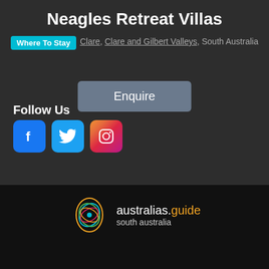Neagles Retreat Villas
Where To Stay   Clare, Clare and Gilbert Valleys, South Australia
Enquire
Follow Us
[Figure (logo): Facebook, Twitter, Instagram social media icons]
Copyright © 2020
Australias Guide Pty Ltd.
[Figure (logo): australias.guide south australia logo with decorative bird/flower artwork in orange, teal, green]